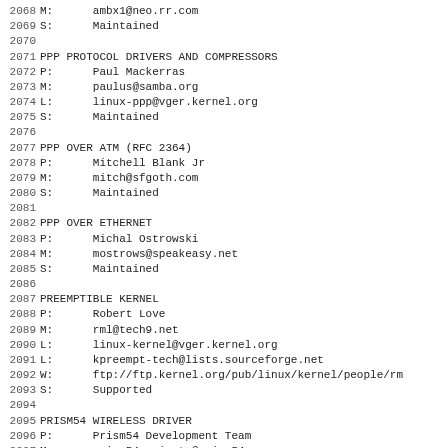2068 M:      ambx1@neo.rr.com
2069 S:      Maintained
2070
2071 PPP PROTOCOL DRIVERS AND COMPRESSORS
2072 P:      Paul Mackerras
2073 M:      paulus@samba.org
2074 L:      linux-ppp@vger.kernel.org
2075 S:      Maintained
2076
2077 PPP OVER ATM (RFC 2364)
2078 P:      Mitchell Blank Jr
2079 M:      mitch@sfgoth.com
2080 S:      Maintained
2081
2082 PPP OVER ETHERNET
2083 P:      Michal Ostrowski
2084 M:      mostrows@speakeasy.net
2085 S:      Maintained
2086
2087 PREEMPTIBLE KERNEL
2088 P:      Robert Love
2089 M:      rml@tech9.net
2090 L:      linux-kernel@vger.kernel.org
2091 L:      kpreempt-tech@lists.sourceforge.net
2092 W:      ftp://ftp.kernel.org/pub/linux/kernel/people/rm
2093 S:      Supported
2094
2095 PRISM54 WIRELESS DRIVER
2096 P:      Prism54 Development Team
2097 M:      prism54-private@prism54.org
2098 L:      netdev@vger.kernel.org
2099 W:      http://prism54.org